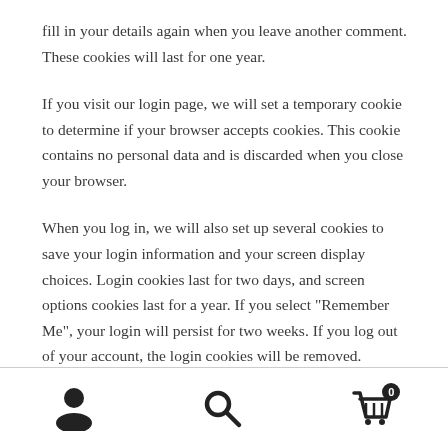fill in your details again when you leave another comment. These cookies will last for one year.
If you visit our login page, we will set a temporary cookie to determine if your browser accepts cookies. This cookie contains no personal data and is discarded when you close your browser.
When you log in, we will also set up several cookies to save your login information and your screen display choices. Login cookies last for two days, and screen options cookies last for a year. If you select "Remember Me", your login will persist for two weeks. If you log out of your account, the login cookies will be removed.
[Figure (infographic): Bottom navigation bar with three icons: person/user icon, search magnifying glass icon, and shopping cart icon with badge showing 0]